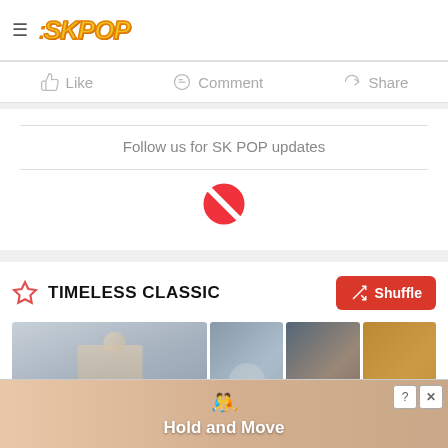SK POP
Like  Comment  Share
Follow us for SK POP updates
[Figure (logo): Apple News icon - red circle with diagonal white line/ban symbol]
TIMELESS CLASSIC
[Figure (photo): Anime character holding a microphone in foggy grey scene]
[Figure (photo): Three side-by-side movie images: a cat, Mad Hatter (Johnny Depp), and a lion cub]
[Figure (screenshot): Advertisement banner for Hold and Move game with blue stick figure characters on sandy background]